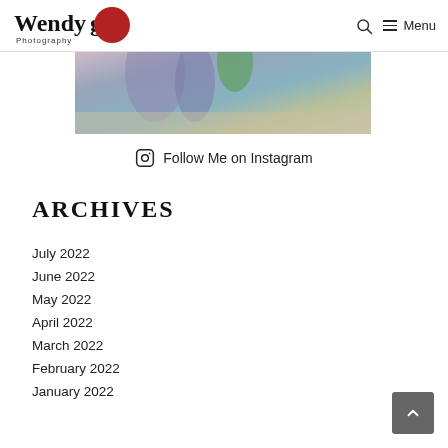Wendy g Photography — Menu
[Figure (photo): Partial photo showing blurred flower/plant elements with purple, green, and blue-gray tones on a light wooden surface background]
Follow Me on Instagram
ARCHIVES
July 2022
June 2022
May 2022
April 2022
March 2022
February 2022
January 2022